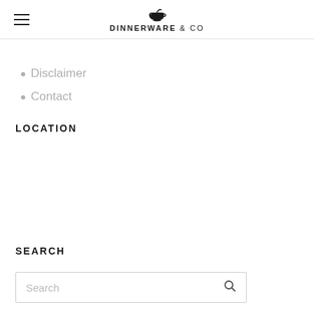DINNERWARE & CO
Disclaimer
Contact
LOCATION
SEARCH
Search